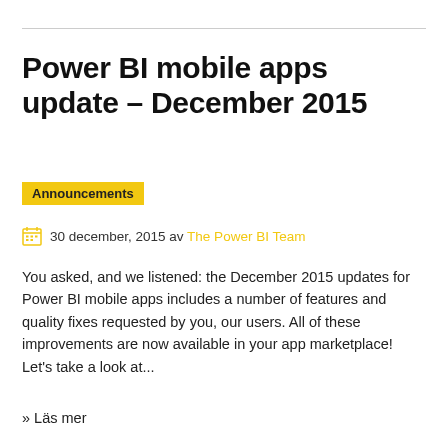Power BI mobile apps update – December 2015
Announcements
30 december, 2015 av The Power BI Team
You asked, and we listened: the December 2015 updates for Power BI mobile apps includes a number of features and quality fixes requested by you, our users. All of these improvements are now available in your app marketplace! Let's take a look at...
» Läs mer